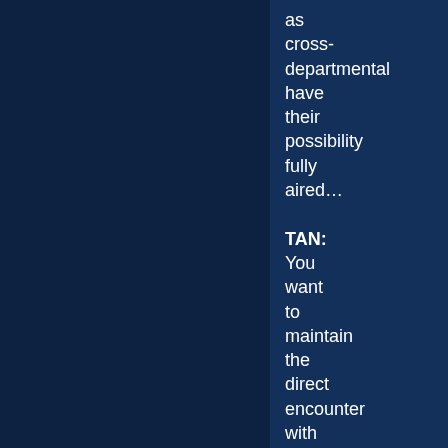as cross-departmental have their possibility fully aired… TAN: You want to maintain the direct encounter with a work of art, but